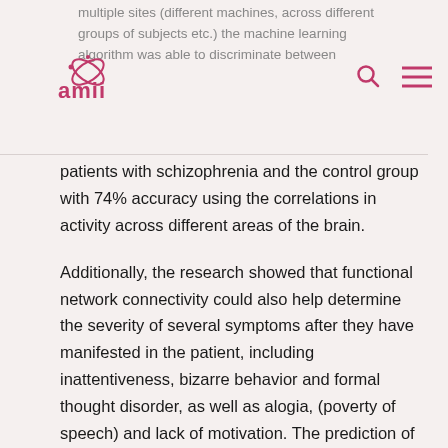multiple sites (different machines, across different groups of subjects etc.) the machine learning algorithm was able to discriminate between
patients with schizophrenia and the control group with 74% accuracy using the correlations in activity across different areas of the brain.
Additionally, the research showed that functional network connectivity could also help determine the severity of several symptoms after they have manifested in the patient, including inattentiveness, bizarre behavior and formal thought disorder, as well as alogia, (poverty of speech) and lack of motivation. The prediction of symptom severity could lead to a more quantitative, measurement-based characterization of schizophrenia; viewing the disease on a